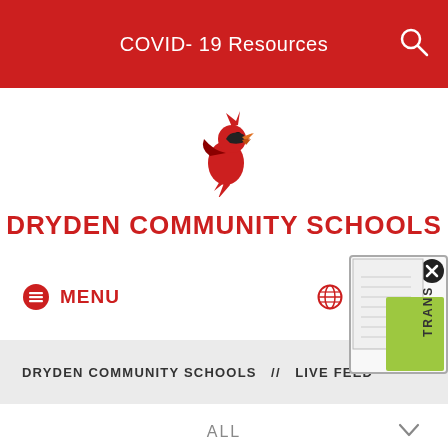COVID-19 Resources
[Figure (logo): Dryden Community Schools cardinal bird mascot logo in red and black]
DRYDEN COMMUNITY SCHOOLS
MENU
LANGUAGE
[Figure (screenshot): Translate popup overlay with close button and green TRANS label]
DRYDEN COMMUNITY SCHOOLS  //  LIVE FEED
ALL